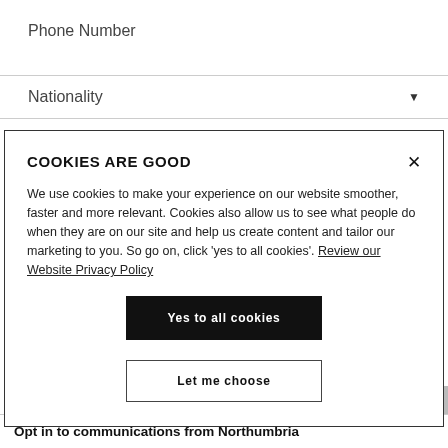Phone Number
Nationality
COOKIES ARE GOOD
We use cookies to make your experience on our website smoother, faster and more relevant. Cookies also allow us to see what people do when they are on our site and help us create content and tailor our marketing to you. So go on, click 'yes to all cookies'. Review our Website Privacy Policy
Yes to all cookies
Let me choose
Opt in to communications from Northumbria